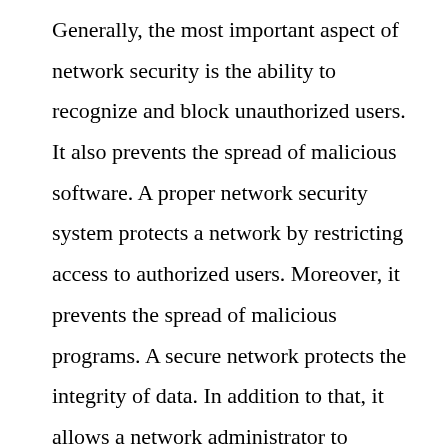Generally, the most important aspect of network security is the ability to recognize and block unauthorized users. It also prevents the spread of malicious software. A proper network security system protects a network by restricting access to authorized users. Moreover, it prevents the spread of malicious programs. A secure network protects the integrity of data. In addition to that, it allows a network administrator to monitor and control changes.